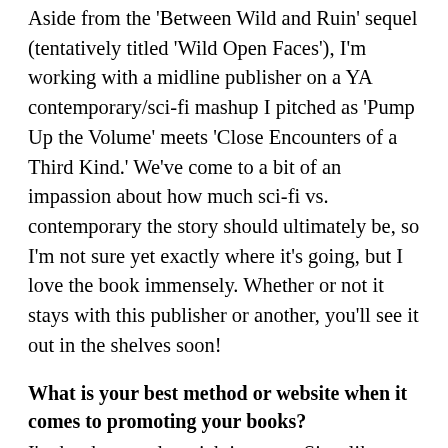Aside from the 'Between Wild and Ruin' sequel (tentatively titled 'Wild Open Faces'), I'm working with a midline publisher on a YA contemporary/sci-fi mashup I pitched as 'Pump Up the Volume' meets 'Close Encounters of a Third Kind.' We've come to a bit of an impassion about how much sci-fi vs. contemporary the story should ultimately be, so I'm not sure yet exactly where it's going, but I love the book immensely. Whether or not it stays with this publisher or another, you'll see it out in the shelves soon!
What is your best method or website when it comes to promoting your books?
I'm hard pressed to pick just one. Sites like